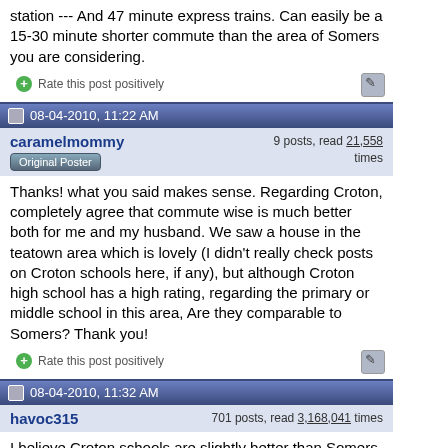station --- And 47 minute express trains. Can easily be a 15-30 minute shorter commute than the area of Somers you are considering.
Rate this post positively
08-04-2010, 11:22 AM
caramelmommy
Original Poster
9 posts, read 21,558 times
Thanks! what you said makes sense. Regarding Croton, completely agree that commute wise is much better both for me and my husband. We saw a house in the teatown area which is lovely (I didn't really check posts on Croton schools here, if any), but although Croton high school has a high rating, regarding the primary or middle school in this area, Are they comparable to Somers? Thank you!
Rate this post positively
08-04-2010, 11:32 AM
havoc315
701 posts, read 3,168,041 times
I believe Croton schools are slightly better than Somers. But you will typically pay higher property